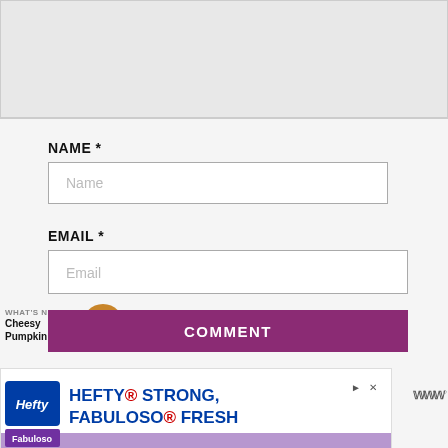[Figure (screenshot): Gray empty top area, part of a web page form]
NAME *
Name
EMAIL *
Email
[Figure (other): Heart/like button icon (purple circle with heart) showing 1.6K likes, and a share button below]
WHAT'S NEXT → Cheesy Pumpkin Orzo
COMMENT
[Figure (other): Advertisement banner: Hefty - HEFTY STRONG, FABULOSO FRESH with Hefty and Fabuloso brand logos]